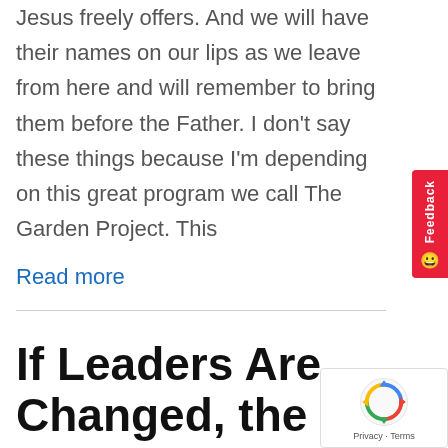Jesus freely offers. And we will have their names on our lips as we leave from here and will remember to bring them before the Father. I don't say these things because I'm depending on this great program we call The Garden Project. This
Read more
If Leaders Are Changed, the People Will